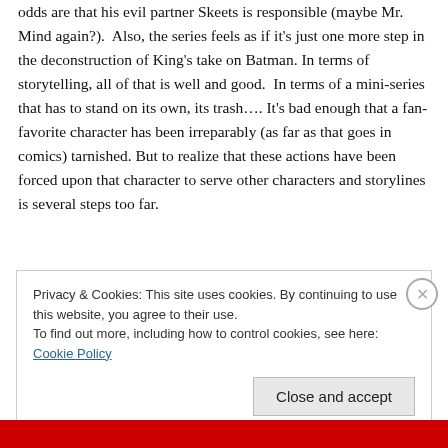odds are that his evil partner Skeets is responsible (maybe Mr. Mind again?). Also, the series feels as if it's just one more step in the deconstruction of King's take on Batman. In terms of storytelling, all of that is well and good. In terms of a mini-series that has to stand on its own, its trash…. It's bad enough that a fan-favorite character has been irreparably (as far as that goes in comics) tarnished. But to realize that these actions have been forced upon that character to serve other characters and storylines is several steps too far.
Privacy & Cookies: This site uses cookies. By continuing to use this website, you agree to their use.
To find out more, including how to control cookies, see here: Cookie Policy